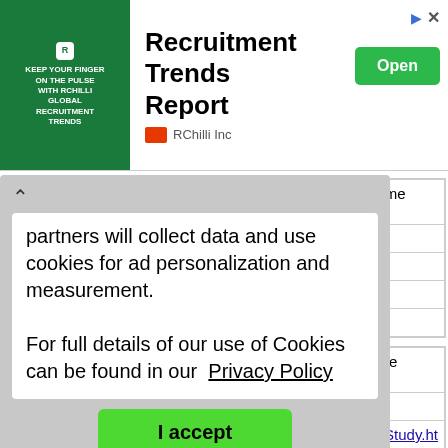[Figure (screenshot): Advertisement banner for RChilli Inc Recruitment Trends Report with green Open button and close/arrow icons]
partners will collect data and use cookies for ad personalization and measurement.
For full details of our use of Cookies can be found in our Privacy Policy
I accept
| Classification: | Census, Deaths, Marriages, One Name Study, Wills / Probate |
| Title: | BALSHAW One Name Study |
| Link: | http://home.clara.net/balshaw/fh.htm |
| Description: | BALSHAW One Name Study |
| Extra Info: | Mainly Lancashire records |
| Classification: | Births, Census, Deaths, Marriages, One Name Study, Wills / Probate |
| Title: | BAUGHEN One Name Study |
| Link: | https://www.baughen.co.uk/OneNameStudy.ht |